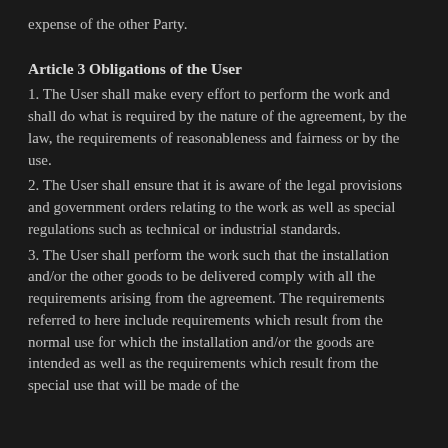expense of the other Party.
Article 3 Obligations of the User
1. The User shall make every effort to perform the work and shall do what is required by the nature of the agreement, by the law, the requirements of reasonableness and fairness or by the use.
2. The User shall ensure that it is aware of the legal provisions and government orders relating to the work as well as special regulations such as technical or industrial standards.
3. The User shall perform the work such that the installation and/or the other goods to be delivered comply with all the requirements arising from the agreement. The requirements referred to here include requirements which result from the normal use for which the installation and/or the goods are intended as well as the requirements which result from the special use that will be made of the